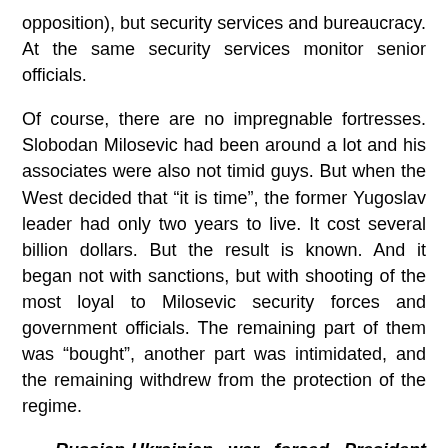opposition), but security services and bureaucracy. At the same security services monitor senior officials.
Of course, there are no impregnable fortresses. Slobodan Milosevic had been around a lot and his associates were also not timid guys. But when the West decided that “it is time”, the former Yugoslav leader had only two years to live. It cost several billion dollars. But the result is known. And it began not with sanctions, but with shooting of the most loyal to Milosevic security forces and government officials. The remaining part of them was “bought”, another part was intimidated, and the remaining withdrew from the protection of the regime.
— Russian-Ukrainian war forced President Lukashenka to think about the state of the Belarusian Armed Forces. What is now our army, is it efficient?
...